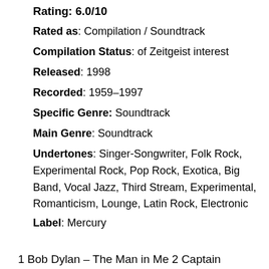Rating: 6.0/10
Rated as: Compilation / Soundtrack
Compilation Status: of Zeitgeist interest
Released: 1998
Recorded: 1959–1997
Specific Genre: Soundtrack
Main Genre: Soundtrack
Undertones: Singer-Songwriter, Folk Rock, Experimental Rock, Pop Rock, Exotica, Big Band, Vocal Jazz, Third Stream, Experimental, Romanticism, Lounge, Latin Rock, Electronic
Label: Mercury
1 Bob Dylan – The Man in Me 2 Captain Beefheart – Her Eyes Are a Blue Million Miles 3 Elvis Costello – My Mood Swings 4 Yma Sumac – Atcypura 5 Diero